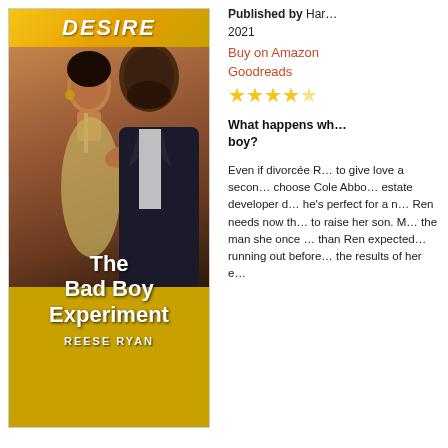[Figure (illustration): Book cover for 'The Bad Boy Experiment' by Reese Ryan. Harlequin Desire series. Shows a couple — a woman in a gold dress and a man in a dark suit — embracing. Bold white title text overlaid on the cover image.]
Published by Harlequin
2021
Buy on Amazon
Goodreads
★★★★½
What happens wh... boy?
Even if divorcée R... to give love a secon... choose Cole Abbo... estate developer d... he's perfect for a n... Ren needs now th... to raise her son. M... the man she once ... than Ren expected... running out before... the results of her e...